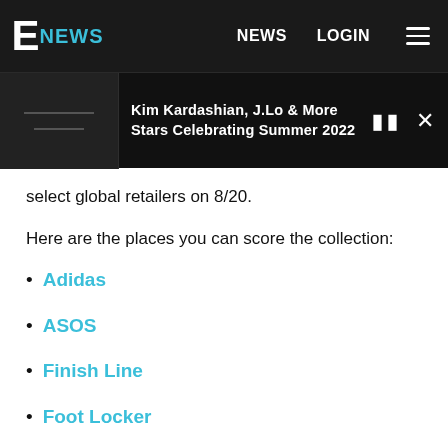E NEWS | NEWS | LOGIN
[Figure (screenshot): E! News video preview bar showing 'Kim Kardashian, J.Lo & More Stars Celebrating Summer 2022' with pause and close controls]
select global retailers on 8/20.
Here are the places you can score the collection:
Adidas
ASOS
Finish Line
Foot Locker
JD Sports